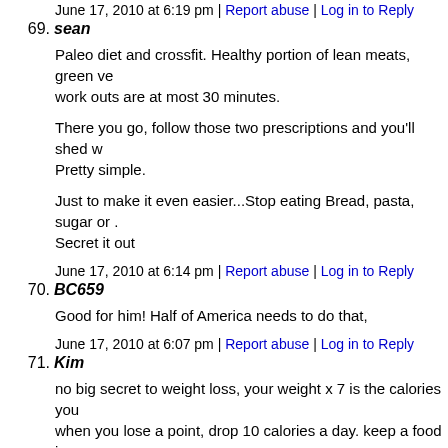June 17, 2010 at 6:19 pm | Report abuse | Log in to Reply
69. sean
Paleo diet and crossfit. Healthy portion of lean meats, green ve... work outs are at most 30 minutes.
There you go, follow those two prescriptions and you'll shed w... Pretty simple.
Just to make it even easier...Stop eating Bread, pasta, sugar or ... Secret it out
June 17, 2010 at 6:14 pm | Report abuse | Log in to Reply
70. BC659
Good for him! Half of America needs to do that,
June 17, 2010 at 6:07 pm | Report abuse | Log in to Reply
71. Kim
no big secret to weight loss, your weight x 7 is the calories you... when you lose a point, drop 10 calories a day. keep a food jour... healther food along with dailey excersie. Get off the couch!!
June 17, 2010 at 6:03 pm | Report abuse | Log in to Reply
72. james